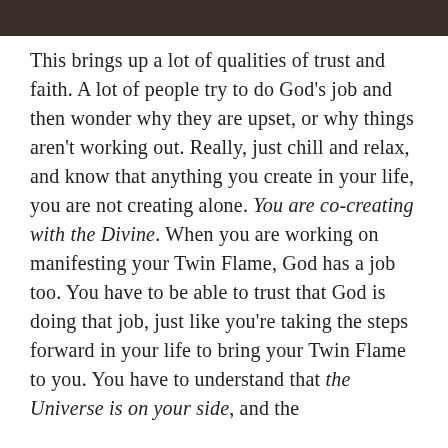[Figure (photo): Dark photographic strip at the top of the page, partially cropped.]
This brings up a lot of qualities of trust and faith. A lot of people try to do God's job and then wonder why they are upset, or why things aren't working out. Really, just chill and relax, and know that anything you create in your life, you are not creating alone. You are co-creating with the Divine. When you are working on manifesting your Twin Flame, God has a job too. You have to be able to trust that God is doing that job, just like you're taking the steps forward in your life to bring your Twin Flame to you. You have to understand that the Universe is on your side, and the